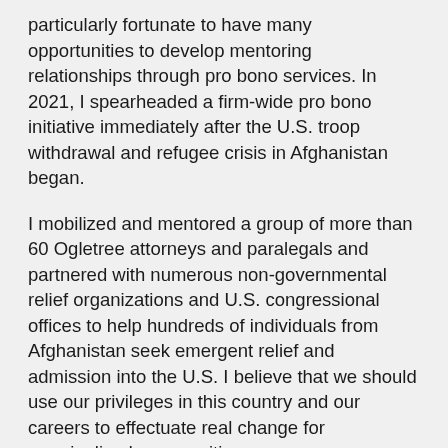particularly fortunate to have many opportunities to develop mentoring relationships through pro bono services. In 2021, I spearheaded a firm-wide pro bono initiative immediately after the U.S. troop withdrawal and refugee crisis in Afghanistan began.
I mobilized and mentored a group of more than 60 Ogletree attorneys and paralegals and partnered with numerous non-governmental relief organizations and U.S. congressional offices to help hundreds of individuals from Afghanistan seek emergent relief and admission into the U.S. I believe that we should use our privileges in this country and our careers to effectuate real change for marginalized communities.
The person I am today has been shaped both by my mentors and mentees—these relationships are truly symbiotic and enriching for all parties. I am honored to be a representative leader in firm leadership that